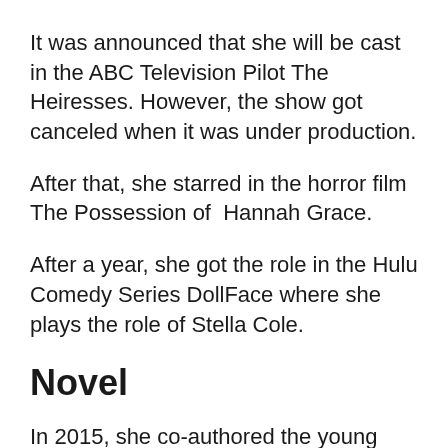It was announced that she will be cast in the ABC Television Pilot The Heiresses. However, the show got canceled when it was under production.
After that, she starred in the horror film The Possession of Hannah Grace.
After a year, she got the role in the Hulu Comedy Series DollFace where she plays the role of Stella Cole.
Novel
In 2015, she co-authored the young adult novel “Bliss” with Michela Belaney. It was her first debut novel and there’s no information